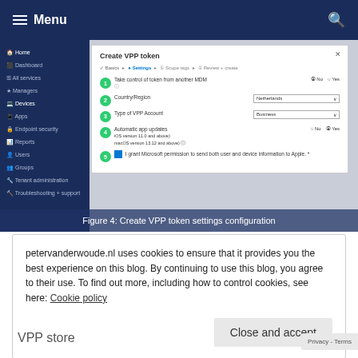Menu
[Figure (screenshot): Screenshot of Microsoft Intune portal showing 'Create VPP token' dialog with Settings tab active. The dialog shows 5 numbered steps: 1) Take control of token from another MDM (No selected), 2) Country/Region dropdown (Netherlands), 3) Type of VPP Account dropdown (Business), 4) Automatic app updates with iOS/macOS version notes (Yes selected), 5) Checkbox for granting Microsoft permission to send user and device information to Apple. Left sidebar shows navigation: Home, Dashboard, All services, Manage, Devices, Apps, Endpoint security, Reports, Users, Groups, Tenant administration, Troubleshooting + support.]
Figure 4: Create VPP token settings configuration
petervanderwoude.nl uses cookies to ensure that it provides you the best experience on this blog. By continuing to use this blog, you agree to their use. To find out more, including how to control cookies, see here: Cookie policy
Close and accept
VPP store
Privacy - Terms